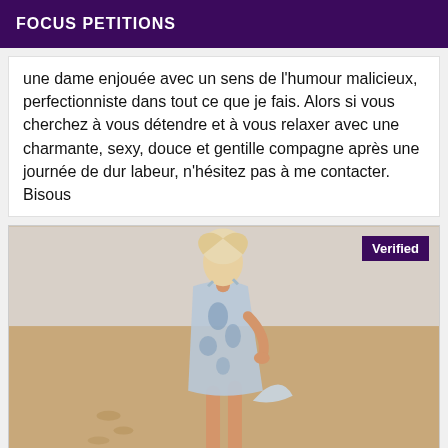FOCUS PETITIONS
une dame enjouée avec un sens de l'humour malicieux, perfectionniste dans tout ce que je fais. Alors si vous cherchez à vous détendre et à vous relaxer avec une charmante, sexy, douce et gentille compagne après une journée de dur labeur, n'hésitez pas à me contacter. Bisous
[Figure (photo): A woman in a blue and white floral dress standing barefoot on a sandy beach. She is posing with one hand on her hip and the wind is blowing the dress. There are footprints in the sand. A purple 'Verified' badge appears in the top-right corner of the image.]